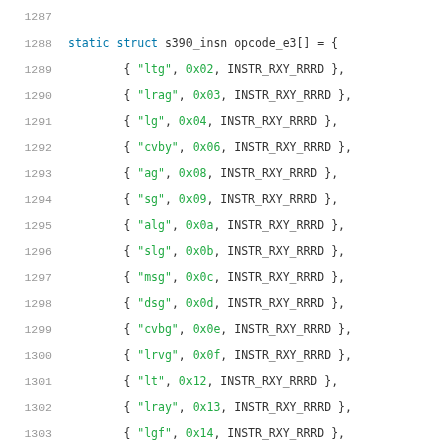source code listing: static struct s390_insn opcode_e3[] = { ... } with line numbers 1287-1307
1287
1288  static struct s390_insn opcode_e3[] = {
1289      { "ltg", 0x02, INSTR_RXY_RRRD },
1290      { "lrag", 0x03, INSTR_RXY_RRRD },
1291      { "lg", 0x04, INSTR_RXY_RRRD },
1292      { "cvby", 0x06, INSTR_RXY_RRRD },
1293      { "ag", 0x08, INSTR_RXY_RRRD },
1294      { "sg", 0x09, INSTR_RXY_RRRD },
1295      { "alg", 0x0a, INSTR_RXY_RRRD },
1296      { "slg", 0x0b, INSTR_RXY_RRRD },
1297      { "msg", 0x0c, INSTR_RXY_RRRD },
1298      { "dsg", 0x0d, INSTR_RXY_RRRD },
1299      { "cvbg", 0x0e, INSTR_RXY_RRRD },
1300      { "lrvg", 0x0f, INSTR_RXY_RRRD },
1301      { "lt", 0x12, INSTR_RXY_RRRD },
1302      { "lray", 0x13, INSTR_RXY_RRRD },
1303      { "lgf", 0x14, INSTR_RXY_RRRD },
1304      { "lgh", 0x15, INSTR_RXY_RRRD },
1305      { "llgf", 0x16, INSTR_RXY_RRRD },
1306      { "llgt", 0x17, INSTR_RXY_RRRD },
1307      { "agf", 0x18, INSTR_RXY_RRRD },